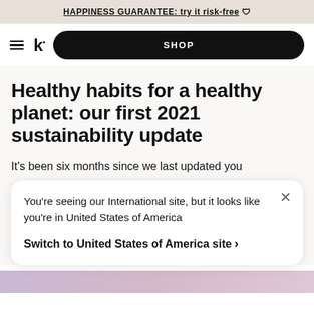HAPPINESS GUARANTEE: try it risk-free 🛡
[Figure (screenshot): Navigation bar with hamburger menu, k° logo, and black SHOP button]
Healthy habits for a healthy planet: our first 2021 sustainability update
It's been six months since we last updated you
You're seeing our International site, but it looks like you're in United States of America
Switch to United States of America site >